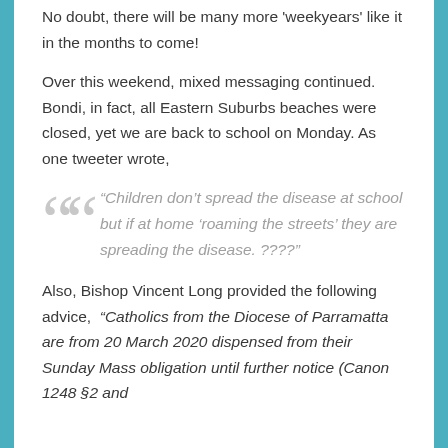No doubt, there will be many more 'weekyears' like it in the months to come!
Over this weekend, mixed messaging continued. Bondi, in fact, all Eastern Suburbs beaches were closed, yet we are back to school on Monday. As one tweeter wrote,
“Children don’t spread the disease at school but if at home ‘roaming the streets’ they are spreading the disease. ????”
Also, Bishop Vincent Long provided the following advice,  “Catholics from the Diocese of Parramatta are from 20 March 2020 dispensed from their Sunday Mass obligation until further notice (Canon 1248 §2 and